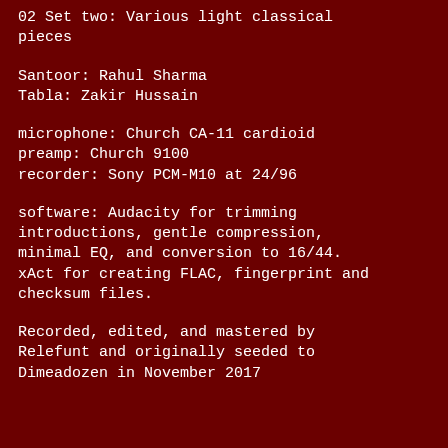02 Set two: Various light classical pieces
Santoor: Rahul Sharma
Tabla: Zakir Hussain
microphone: Church CA-11 cardioid
preamp: Church 9100
recorder: Sony PCM-M10 at 24/96
software: Audacity for trimming introductions, gentle compression, minimal EQ, and conversion to 16/44. xAct for creating FLAC, fingerprint and checksum files.
Recorded, edited, and mastered by Relefunt and originally seeded to Dimeadozen in November 2017